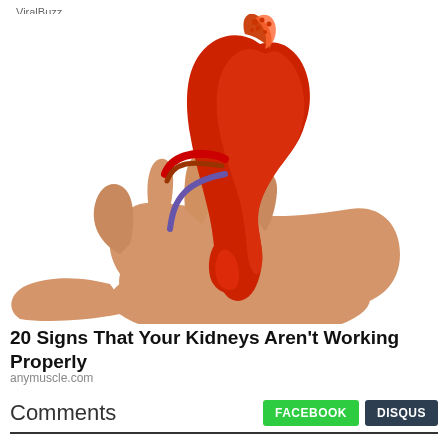ViralBuzz
[Figure (photo): A hand holding a large anatomical model of a kidney against a white background. The kidney model is red/crimson colored showing detailed anatomy including the renal artery and ureter.]
20 Signs That Your Kidneys Aren't Working Properly
anymuscle.com
Comments
FACEBOOK  DISQUS